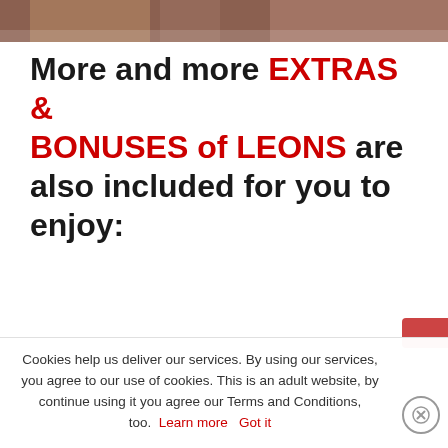[Figure (photo): Cropped photo strip at top of page showing people, partially visible]
More and more EXTRAS & BONUSES of LEONS are also included for you to enjoy:
Cookies help us deliver our services. By using our services, you agree to our use of cookies. This is an adult website, by continue using it you agree our Terms and Conditions, too. Learn more   Got it